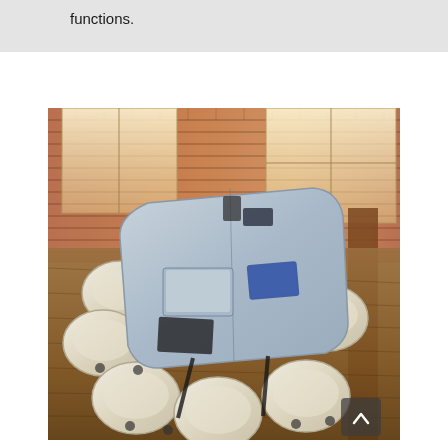functions.
[Figure (photo): A modern conference table with a grey/blue tabletop surface surrounded by white/cream armchairs on casters, photographed from above in a room with brick walls, large windows letting in warm light, and a dark hardwood floor.]